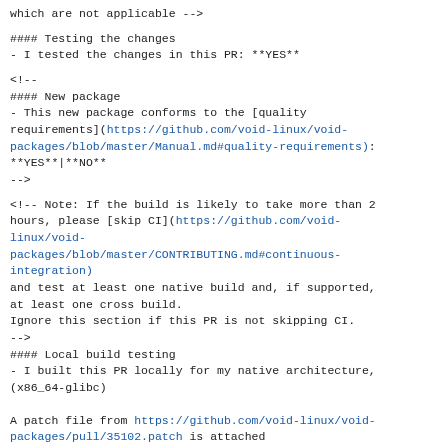which are not applicable -->
#### Testing the changes
- I tested the changes in this PR: **YES**
<!--
#### New package
- This new package conforms to the [quality requirements](https://github.com/void-linux/void-packages/blob/master/Manual.md#quality-requirements): **YES**|**NO**
-->
<!-- Note: If the build is likely to take more than 2 hours, please [skip CI](https://github.com/void-linux/void-packages/blob/master/CONTRIBUTING.md#continuous-integration)
and test at least one native build and, if supported, at least one cross build.
Ignore this section if this PR is not skipping CI.
-->
#### Local build testing
- I built this PR locally for my native architecture, (x86_64-glibc)
A patch file from https://github.com/void-linux/void-packages/pull/35102.patch is attached